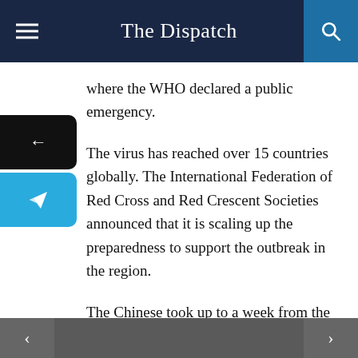The Dispatch
where the WHO declared a public emergency.
The virus has reached over 15 countries globally. The International Federation of Red Cross and Red Crescent Societies announced that it is scaling up the preparedness to support the outbreak in the region.
The Chinese took up to a week from the first patient sample, to determine a